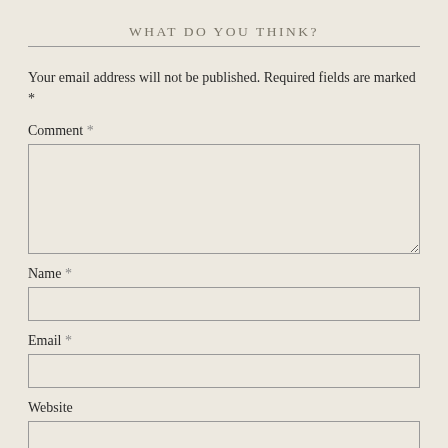WHAT DO YOU THINK?
Your email address will not be published. Required fields are marked *
Comment *
Name *
Email *
Website